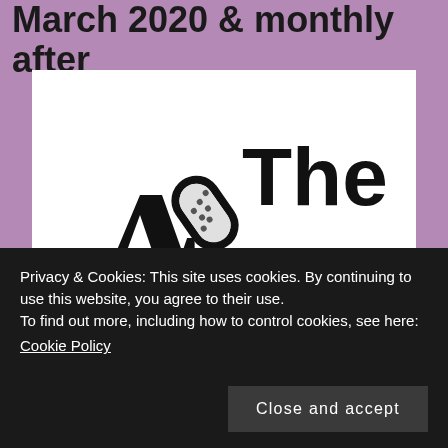March 2020 & monthly after
[Figure (logo): The Authors podcast logo: large bold text 'The Authors' with a microphone graphic replacing the 'A' in Authors, on white background]
Privacy & Cookies: This site uses cookies. By continuing to use this website, you agree to their use.
To find out more, including how to control cookies, see here: Cookie Policy
Close and accept